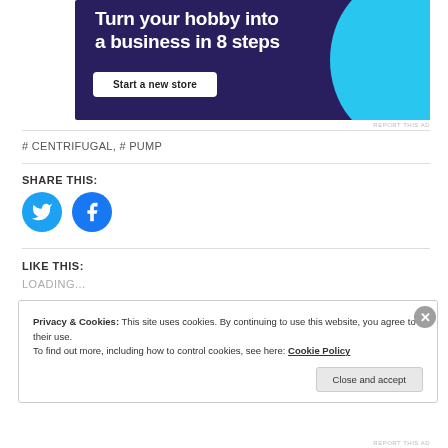[Figure (screenshot): Advertisement banner with dark purple background, text 'Turn your hobby into a business in 8 steps', a 'Start a new store' button, and a cyan circle decoration]
REPORT THIS AD
# CENTRIFUGAL, # PUMP
SHARE THIS:
[Figure (illustration): Twitter and Facebook social share icon circles]
LIKE THIS:
LOADING...
Privacy & Cookies: This site uses cookies. By continuing to use this website, you agree to their use.
To find out more, including how to control cookies, see here: Cookie Policy
Close and accept